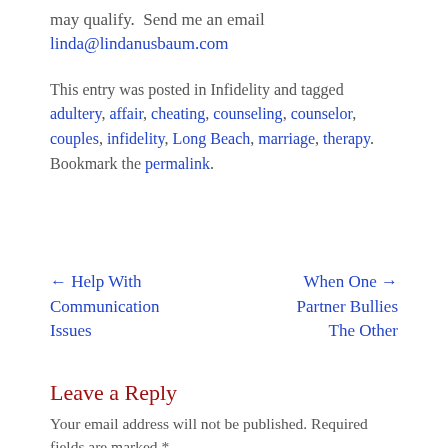may qualify.  Send me an email linda@lindanusbaum.com
This entry was posted in Infidelity and tagged adultery, affair, cheating, counseling, counselor, couples, infidelity, Long Beach, marriage, therapy. Bookmark the permalink.
← Help With Communication Issues
When One → Partner Bullies The Other
Leave a Reply
Your email address will not be published. Required fields are marked *